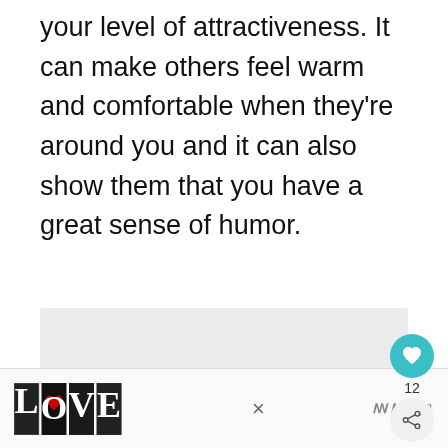your level of attractiveness. It can make others feel warm and comfortable when they're around you and it can also show them that you have a great sense of humor.
[Figure (other): Light gray rectangular advertisement placeholder box]
[Figure (other): Teal circular heart/like button UI element with heart icon, like count of 12, and share button below]
[Figure (other): Bottom advertisement bar with decorative LOVE logo text in black and white illustration style, a close X button, and a brand mark]